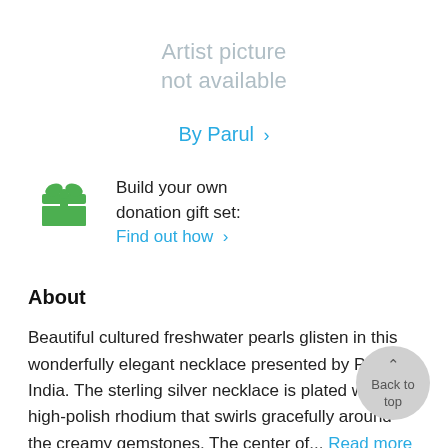[Figure (illustration): Artist picture not available placeholder text in light gray]
By Parul >
[Figure (illustration): Green gift box icon]
Build your own donation gift set: Find out how >
About
Beautiful cultured freshwater pearls glisten in this wonderfully elegant necklace presented by Parul of India. The sterling silver necklace is plated with high-polish rhodium that swirls gracefully around the creamy gemstones. The center of... Read more